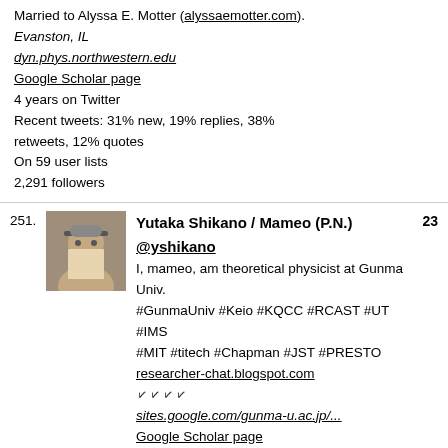Married to Alyssa E. Motter (alyssaemotter.com). Evanston, IL
dyn.phys.northwestern.edu
Google Scholar page
4 years on Twitter
Recent tweets: 31% new, 19% replies, 38% retweets, 12% quotes
On 59 user lists
2,291 followers
251. Yutaka Shikano / Mameo (P.N.) @yshikano — 23
I, mameo, am theoretical physicist at Gunma Univ. #GunmaUniv #Keio #KQCC #RCAST #UT #IMS #MIT #titech #Chapman #JST #PRESTO
researcher-chat.blogspot.com
[Japanese characters]
sites.google.com/gunma-u.ac.jp/...
Google Scholar page
13 years on Twitter
Recent tweets: 14% new, 37% replies, 33% retweets, 16% quotes
On 88 user lists
1,956 followers
252. M. Bilge Demirköz — 22